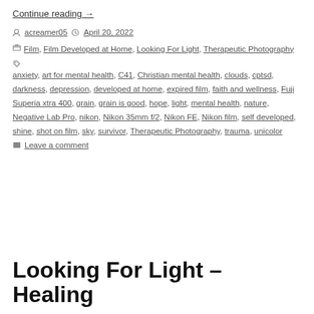Continue reading  →
Posted by acreamer05  April 20, 2022
Categories: Film, Film Developed at Home, Looking For Light, Therapeutic Photography
Tags: anxiety, art for mental health, C41, Christian mental health, clouds, cptsd, darkness, depression, developed at home, expired film, faith and wellness, Fuji Superia xtra 400, grain, grain is good, hope, light, mental health, nature, Negative Lab Pro, nikon, Nikon 35mm f/2, Nikon FE, Nikon film, self developed, shine, shot on film, sky, survivor, Therapeutic Photography, trauma, unicolor
Leave a comment
Looking For Light – Healing